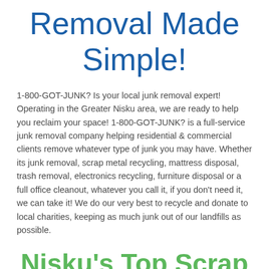Removal Made Simple!
1-800-GOT-JUNK? Is your local junk removal expert! Operating in the Greater Nisku area, we are ready to help you reclaim your space! 1-800-GOT-JUNK? is a full-service junk removal company helping residential & commercial clients remove whatever type of junk you may have. Whether its junk removal, scrap metal recycling, mattress disposal, trash removal, electronics recycling, furniture disposal or a full office cleanout, whatever you call it, if you don't need it, we can take it! We do our very best to recycle and donate to local charities, keeping as much junk out of our landfills as possible.
Nisku's Top Scrap